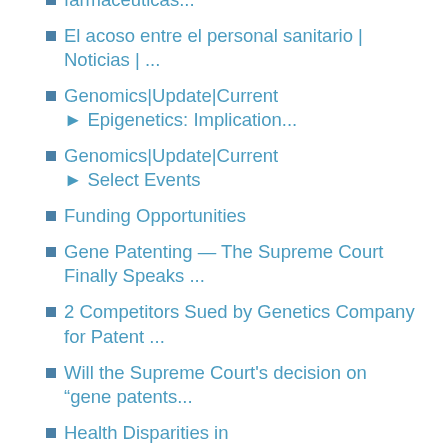farmacéuticas...
El acoso entre el personal sanitario | Noticias | ...
Genomics|Update|Current ► Epigenetics: Implication...
Genomics|Update|Current ► Select Events
Funding Opportunities
Gene Patenting — The Supreme Court Finally Speaks ...
2 Competitors Sued by Genetics Company for Patent ...
Will the Supreme Court's decision on “gene patents...
Health Disparities in